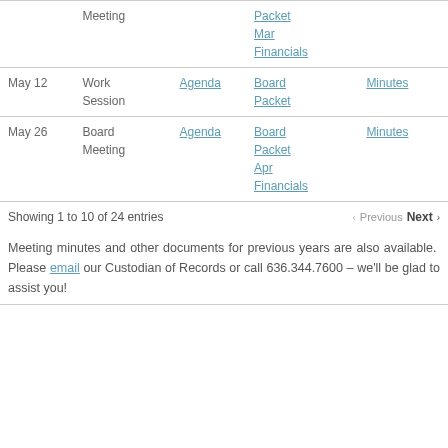| Date | Type | Agenda | Documents | Minutes |
| --- | --- | --- | --- | --- |
|  | Meeting |  | Packet
Mar
Financials |  |
| May 12 | Work Session | Agenda | Board Packet | Minutes |
| May 26 | Board Meeting | Agenda | Board Packet
Apr
Financials | Minutes |
Showing 1 to 10 of 24 entries
Previous  Next
Meeting minutes and other documents for previous years are also available. Please email our Custodian of Records or call 636.344.7600 – we'll be glad to assist you!